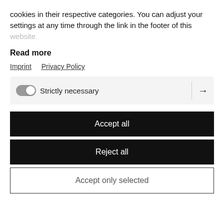cookies in their respective categories. You can adjust your settings at any time through the link in the footer of this website.
Read more
Imprint   Privacy Policy
Strictly necessary →
Accept all
Reject all
Accept only selected